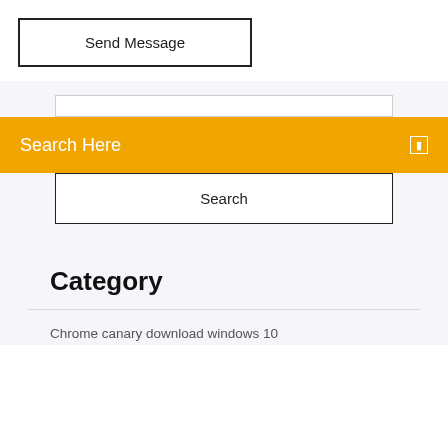Send Message
Search Here
Search
Category
Chrome canary download windows 10